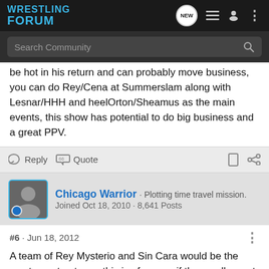Wrestling Forum
be hot in his return and can probably move business, you can do Rey/Cena at Summerslam along with Lesnar/HHH and heelOrton/Sheamus as the main events, this show has potential to do big business and a great PPV.
Reply  Quote
Chicago Warrior · Plotting time travel mission. Joined Oct 18, 2010 · 8,641 Posts
#6 · Jun 18, 2012
A team of Rey Mysterio and Sin Cara would be the most over tag team, this is of course if they really want to re-build the tag division. TNAs tag team division has Kurt Angle and WWEs has